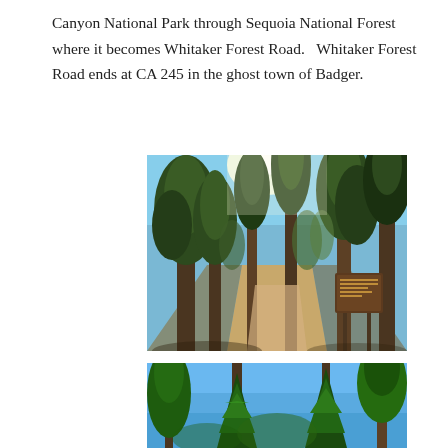Canyon National Park through Sequoia National Forest where it becomes Whitaker Forest Road.   Whitaker Forest Road ends at CA 245 in the ghost town of Badger.
[Figure (photo): A dirt road winding through tall pine and fir trees with sunlight filtering through the canopy. A brown national park/forest sign is visible on the right side of the road.]
[Figure (photo): Tall green conifer trees against a bright blue sky, partial view of a second forest road photograph.]